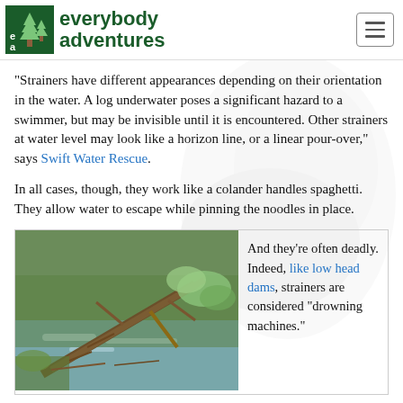everybody adventures
“Strainers have different appearances depending on their orientation in the water. A log underwater poses a significant hazard to a swimmer, but may be invisible until it is encountered. Other strainers at water level may look like a horizon line, or a linear pour-over,” says Swift Water Rescue.
In all cases, though, they work like a colander handles spaghetti. They allow water to escape while pinning the noodles in place.
[Figure (photo): Photo of fallen trees and branches creating a strainer across a river with rushing water visible through the debris.]
And they’re often deadly. Indeed, like low head dams, strainers are considered “drowning machines.”